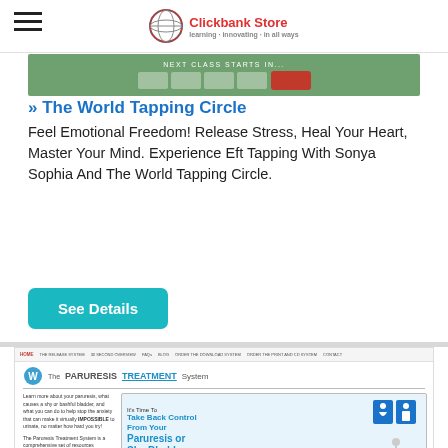Clickbank Store
[Figure (screenshot): Green banner showing 'NEXT CLASS STARTS IN...' countdown with input boxes and a red button]
» The World Tapping Circle
Feel Emotional Freedom! Release Stress, Heal Your Heart, Master Your Mind. Experience Eft Tapping With Sonya Sophia And The World Tapping Circle.
See Details
[Figure (screenshot): The Paruresis Treatment System website screenshot showing logo, navigation, text about paruresis/shy bladder, and a banner graphic with 'Take Back Control From Your Paruresis or Shy Bladder...']